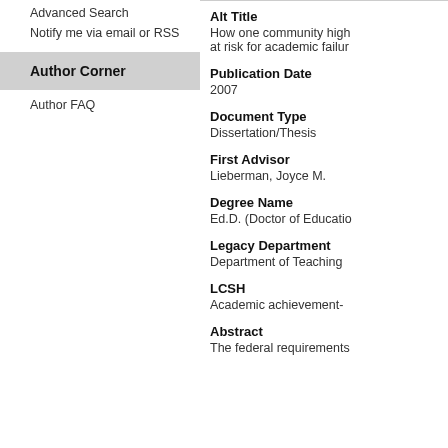Advanced Search
Notify me via email or RSS
Author Corner
Author FAQ
Alt Title
How one community high at risk for academic failur
Publication Date
2007
Document Type
Dissertation/Thesis
First Advisor
Lieberman, Joyce M.
Degree Name
Ed.D. (Doctor of Educatio
Legacy Department
Department of Teaching
LCSH
Academic achievement-
Abstract
The federal requirements